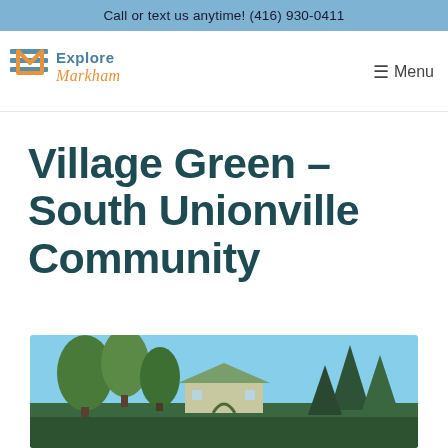Call or text us anytime! (416) 930-0411
[Figure (logo): Explore Markham logo with stylized EM monogram in orange and blue]
Menu
Village Green – South Unionville Community
[Figure (photo): Outdoor photo of a community building with large green trees and blue sky in Village Green, South Unionville]